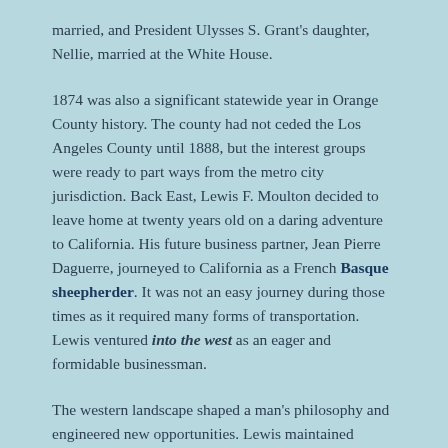married, and President Ulysses S. Grant's daughter, Nellie, married at the White House.
1874 was also a significant statewide year in Orange County history. The county had not ceded the Los Angeles County until 1888, but the interest groups were ready to part ways from the metro city jurisdiction. Back East, Lewis F. Moulton decided to leave home at twenty years old on a daring adventure to California. His future business partner, Jean Pierre Daguerre, journeyed to California as a French Basque sheepherder. It was not an easy journey during those times as it required many forms of transportation. Lewis ventured into the west as an eager and formidable businessman.
The western landscape shaped a man's philosophy and engineered new opportunities. Lewis maintained strong connections to his Bostonian roots. The Fenno cousins